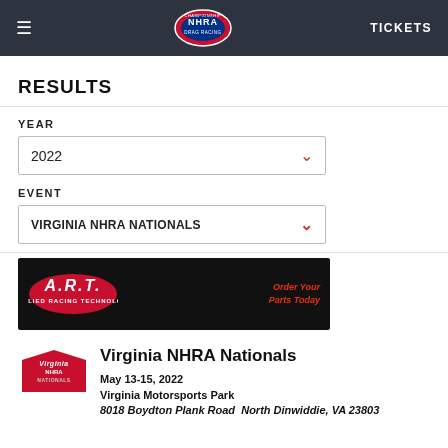≡  NHRA  TICKETS
RESULTS
YEAR
2022
EVENT
VIRGINIA NHRA NATIONALS
[Figure (illustration): A.R.T. Applied Racing Technology advertisement banner on black background with tools and parts, text: Order Your Parts Today]
[Figure (logo): Virginia NHRA Nationals event logo, red and silver]
Virginia NHRA Nationals
May 13-15, 2022
Virginia Motorsports Park
8018 Boydton Plank Road  North Dinwiddie, VA 23803